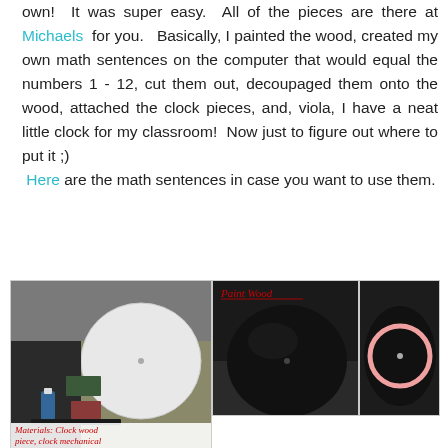own! It was super easy. All of the pieces are there at Michaels for you. Basically, I painted the wood, created my own math sentences on the computer that would equal the numbers 1 - 12, cut them out, decoupaged them onto the wood, attached the clock pieces, and, viola, I have a neat little clock for my classroom! Now just to figure out where to put it ;) Here are the math sentences in case you want to use them.
[Figure (photo): Photo of clock-making materials including a round wooden piece, clock mechanism, and supplies on a table. Caption reads: Materials: Clock wood piece, clock mechanical]
[Figure (photo): Two photos side by side of a round wooden board painted black, one labeled 'Paint Wood' in red handwriting. The right image shows the board with a pink/white circular outline.]